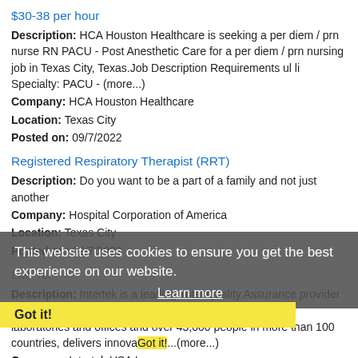$30-38 per hour
Description: HCA Houston Healthcare is seeking a per diem / prn nurse RN PACU - Post Anesthetic Care for a per diem / prn nursing job in Texas City, Texas.Job Description Requirements ul li Specialty: PACU - (more...)
Company: HCA Houston Healthcare
Location: Texas City
Posted on: 09/7/2022
Registered Respiratory Therapist (RRT)
Description: Do you want to be a part of a family and not just another
Company: Hospital Corporation of America
Location: Texas City
Posted on: 09/7/2022
Lab Te...
Description: Intertek is a leading Total Quality Assurance provider to industries worldwide. Our network of more than 1,000 laboratories and offices and over 43,000 people in more than 100 countries, delivers innova...(more...)
Company: Intertek USA Inc
Location: Port Arthur
Posted on: 09/7/2022
This website uses cookies to ensure you get the best experience on our website.
Learn more
Got it!